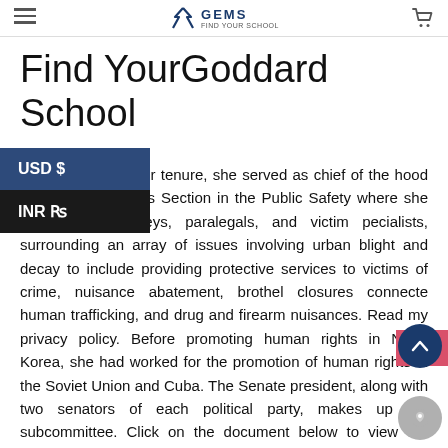GEMS
Find YourGoddard School
ast five years of her tenure, she served as chief of the hood and Victim Services Section in the Public Safety where she supervised attorneys, paralegals, and victim pecialists, surrounding an array of issues involving urban blight and decay to include providing protective services to victims of crime, nuisance abatement, brothel closures connected human trafficking, and drug and firearm nuisances. Read my privacy policy. Before promoting human rights in North Korea, she had worked for the promotion of human rights in the Soviet Union and Cuba. The Senate president, along with two senators of each political party, makes up the subcommittee. Click on the document below to view the transcript in full. Arizona School A Professionals. To obtain information about Board procedures or agenda items, or to arrange to address the Board, call 571 423 1060 For general information or with questions, call 571 423 1075. Our